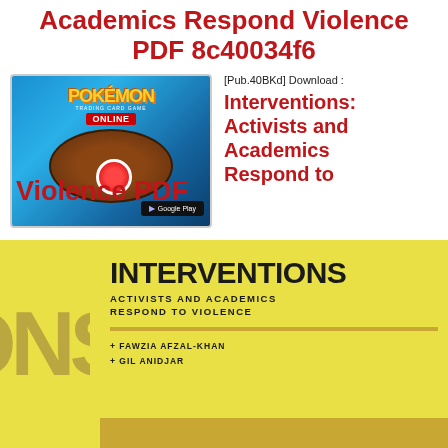Academics Respond Violence PDF 8c40034f6
[Figure (illustration): Pokemon Trading Card Game Online advertisement with app store badge]
[Pub.40BKd] Download :
Interventions: Activists and Academics Respond to Violence PDF
[Figure (photo): Book cover of Interventions: Activists and Academics Respond to Violence, with yellow background and large stylized letters, authors Fawzia Afzal-Khan and Gil Anidjar]